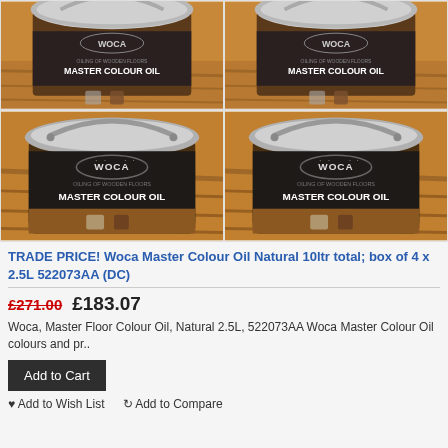[Figure (photo): Four product images of WOCA Master Colour Oil Natural buckets arranged in a 2x2 grid. Top row shows two partially cut-off bucket tops. Bottom row shows two full buckets with grey lids and black labels reading WOCA MASTER COLOUR OIL with wood floor imagery.]
TRADE PRICE! Woca Master Colour Oil Natural 10ltr total; box of 4 x 2.5L 522073AA (DC)
£271.00  £183.07
Woca, Master Floor Colour Oil, Natural 2.5L, 522073AA Woca Master Colour Oil colours and pr..
Add to Cart
Add to Wish List  Add to Compare